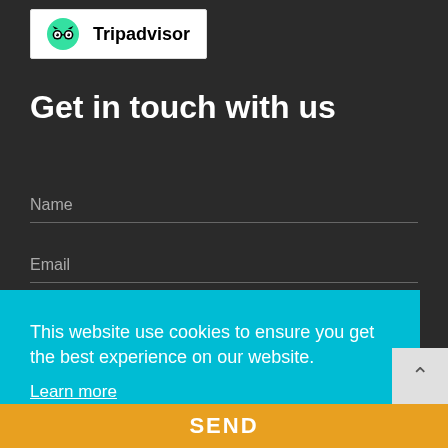[Figure (logo): Tripadvisor logo with owl icon and text]
Get in touch with us
Name
Email
This website use cookies to ensure you get the best experience on our website.
Learn more
Got it!
SEND